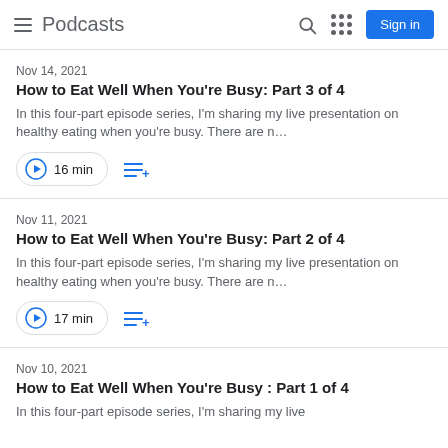Podcasts  Sign in
Nov 14, 2021
How to Eat Well When You're Busy: Part 3 of 4
In this four-part episode series, I'm sharing my live presentation on healthy eating when you're busy. There are n…
16 min
Nov 11, 2021
How to Eat Well When You're Busy: Part 2 of 4
In this four-part episode series, I'm sharing my live presentation on healthy eating when you're busy. There are n…
17 min
Nov 10, 2021
How to Eat Well When You're Busy : Part 1 of 4
In this four-part episode series, I'm sharing my live